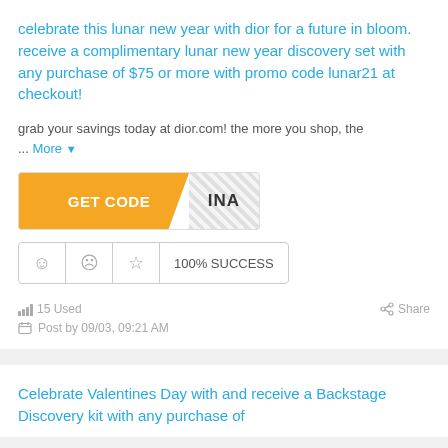celebrate this lunar new year with dior for a future in bloom. receive a complimentary lunar new year discovery set with any purchase of $75 or more with promo code lunar21 at checkout!
grab your savings today at dior.com! the more you shop, the ...
More
[Figure (other): GET CODE button in orange with diagonal cut, revealing partially visible code 'INA' with hatched background]
100% SUCCESS
15 Used
Share
Post by 09/03, 09:21 AM
Celebrate Valentines Day with and receive a Backstage Discovery kit with any purchase of